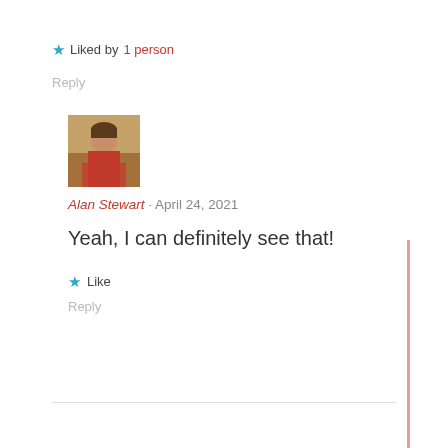★ Liked by 1 person
Reply
[Figure (photo): Avatar photo of Alan Stewart, person in red shirt]
Alan Stewart · April 24, 2021
Yeah, I can definitely see that!
★ Like
Reply